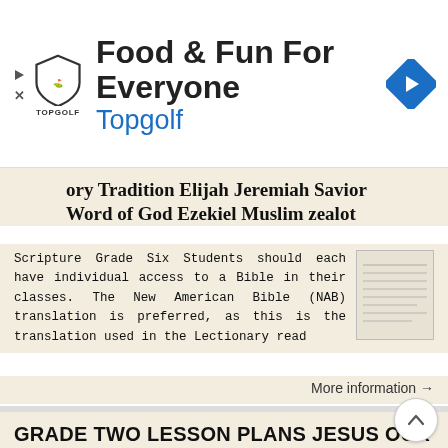[Figure (infographic): Topgolf advertisement banner with logo shield, brand name, tagline 'Food & Fun For Everyone', navigation arrow icon]
ory Tradition Elijah Jeremiah Savior Word of God Ezekiel Muslim zealot
Scripture Grade Six Students should each have individual access to a Bible in their classes. The New American Bible (NAB) translation is preferred, as this is the translation used in the Lectionary read
More information →
GRADE TWO LESSON PLANS JESUS OUR LIFE
Part I: Sacramental Students will study the Sacraments of Penance and Holy Communion in preparation to receive them